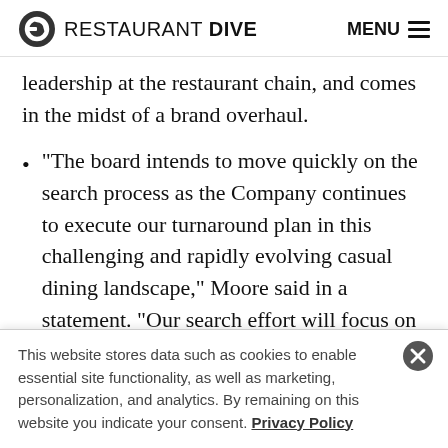RESTAURANT DIVE  MENU
leadership at the restaurant chain, and comes in the midst of a brand overhaul.
“The board intends to move quickly on the search process as the Company continues to execute our turnaround plan in this challenging and rapidly evolving casual dining landscape,” Moore said in a statement. “Our search effort will focus on identifying an external candidate who recognizes the urgency of strengthening and stabilizing our dine-in business as
This website stores data such as cookies to enable essential site functionality, as well as marketing, personalization, and analytics. By remaining on this website you indicate your consent. Privacy Policy